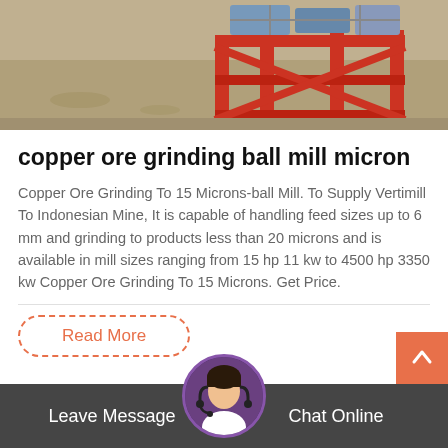[Figure (photo): Photo of red metal crate/frame structure on a concrete floor, partially visible at top of page]
copper ore grinding ball mill micron
Copper Ore Grinding To 15 Microns-ball Mill. To Supply Vertimill To Indonesian Mine, It is capable of handling feed sizes up to 6 mm and grinding to products less than 20 microns and is available in mill sizes ranging from 15 hp 11 kw to 4500 hp 3350 kw Copper Ore Grinding To 15 Microns. Get Price.
Read More
Leave Message   Chat Online